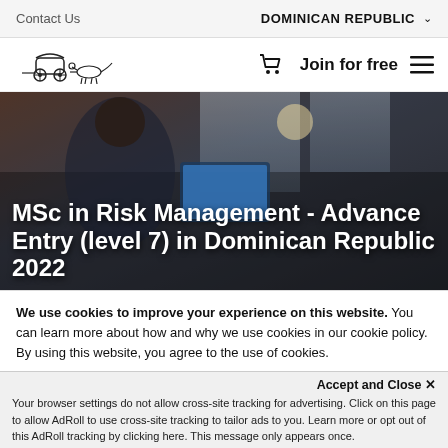Contact Us   DOMINICAN REPUBLIC
[Figure (logo): Horse-drawn carriage logo illustration, shopping cart icon, 'Join for free' text, and hamburger menu icon in main navigation bar]
[Figure (photo): Black man in glasses and blue jacket looking at a tablet/laptop screen displaying data, seated at a desk with brick wall background, with overlay title text: MSc in Risk Management - Advance Entry (level 7) in Dominican Republic 2022]
MSc in Risk Management - Advance Entry (level 7) in Dominican Republic 2022
We use cookies to improve your experience on this website. You can learn more about how and why we use cookies in our cookie policy. By using this website, you agree to the use of cookies.
Accept and Close ✕
Your browser settings do not allow cross-site tracking for advertising. Click on this page to allow AdRoll to use cross-site tracking to tailor ads to you. Learn more or opt out of this AdRoll tracking by clicking here. This message only appears once.